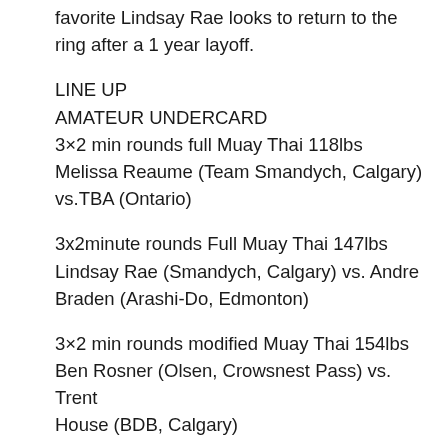favorite Lindsay Rae looks to return to the ring after a 1 year layoff.
LINE UP
AMATEUR UNDERCARD
3×2 min rounds full Muay Thai 118lbs Melissa Reaume (Team Smandych, Calgary) vs.TBA (Ontario)
3x2minute rounds Full Muay Thai 147lbs Lindsay Rae (Smandych, Calgary) vs. Andre Braden (Arashi-Do, Edmonton)
3×2 min rounds modified Muay Thai 154lbs Ben Rosner (Olsen, Crowsnest Pass) vs. Trent House (BDB, Calgary)
3x2min rounds full Muay Thai 170lbs